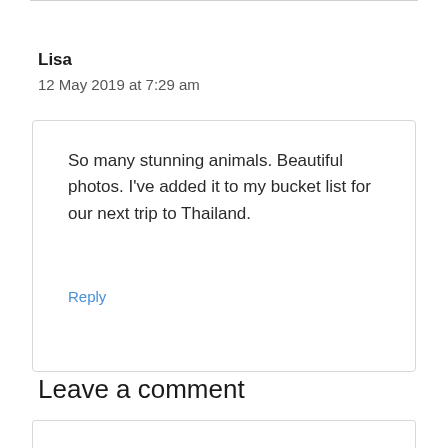Lisa
12 May 2019 at 7:29 am
So many stunning animals. Beautiful photos. I've added it to my bucket list for our next trip to Thailand.
Reply
Leave a comment